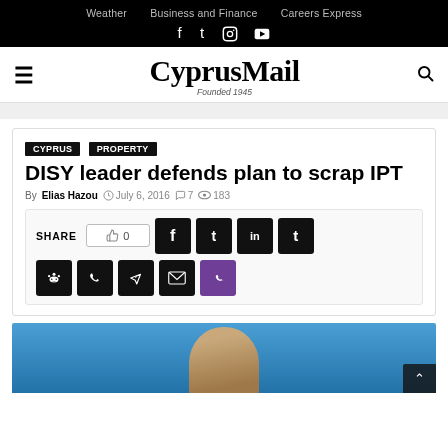Weather  Business and Finance  Careers Express
CyprusMail
Founded 1945
DISY leader defends plan to scrap IPT
By Elias Hazou  July 6, 2016  7  183
SHARE  0
[Figure (photo): Photo of a man in a suit against a blue background, partially visible at the bottom of the page]